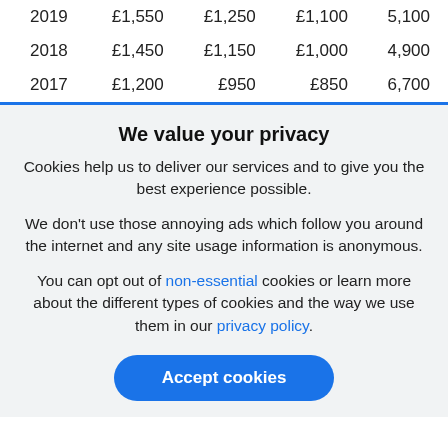| 2019 | £1,550 | £1,250 | £1,100 | 5,100 |
| 2018 | £1,450 | £1,150 | £1,000 | 4,900 |
| 2017 | £1,200 | £950 | £850 | 6,700 |
We value your privacy
Cookies help us to deliver our services and to give you the best experience possible.
We don't use those annoying ads which follow you around the internet and any site usage information is anonymous.
You can opt out of non-essential cookies or learn more about the different types of cookies and the way we use them in our privacy policy.